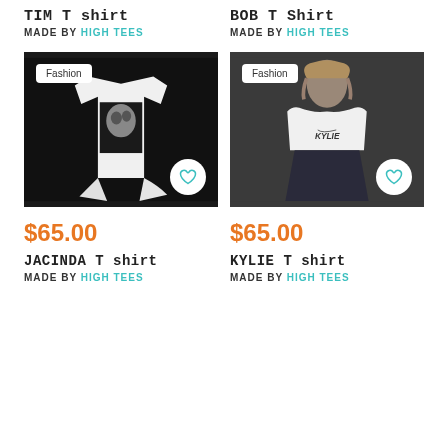TIM T SHIRT
MADE BY High Tees
BOB T SHIRT
MADE BY High Tees
[Figure (photo): White t-shirt with black printed face graphic on dark background, Fashion badge, heart icon]
[Figure (photo): Model wearing white Kylie t-shirt against dark background, Fashion badge, heart icon]
$65.00
$65.00
JACINDA T SHIRT
MADE BY High Tees
KYLIE T SHIRT
MADE BY High Tees